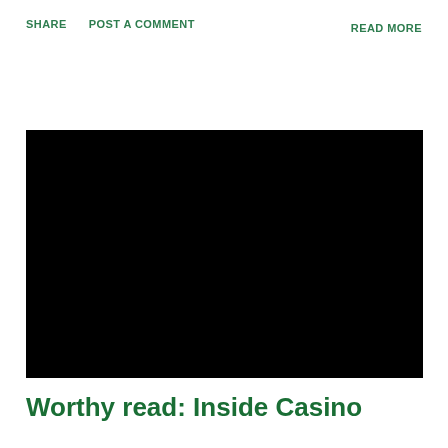SHARE   POST A COMMENT   READ MORE
[Figure (photo): Large black rectangle representing an image placeholder or embedded video]
Worthy read: Inside Casino